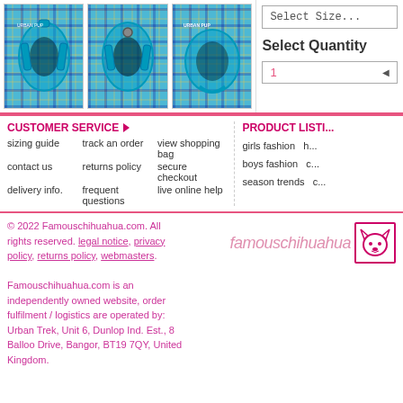[Figure (photo): Three views of a blue plaid dog harness]
Select Size...
Select Quantity
1
CUSTOMER SERVICE ▶
sizing guide
track an order
view shopping bag
contact us
returns policy
secure checkout
delivery info.
frequent questions
live online help
PRODUCT LISTI...
girls fashion
boys fashion
season trends
© 2022 Famouschihuahua.com. All rights reserved. legal notice, privacy policy, returns policy, webmasters. Famouschihuahua.com is an independently owned website, order fulfilment / logistics are operated by: Urban Trek, Unit 6, Dunlop Ind. Est., 8 Balloo Drive, Bangor, BT19 7QY, United Kingdom.